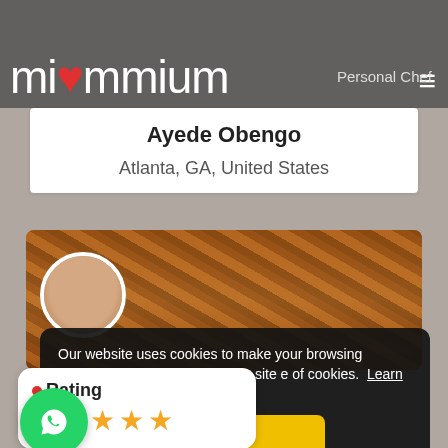miommium — Personal Chef
Ayede Obengo
Atlanta, GA, United States
[Figure (photo): Food photo showing braided/layered cooked meat dish with chef profile picture overlay]
Our website uses cookies to make your browsing experience better. By using our site e of cookies. Learn more
Yes
Rating
[Figure (infographic): Five yellow stars rating widget]